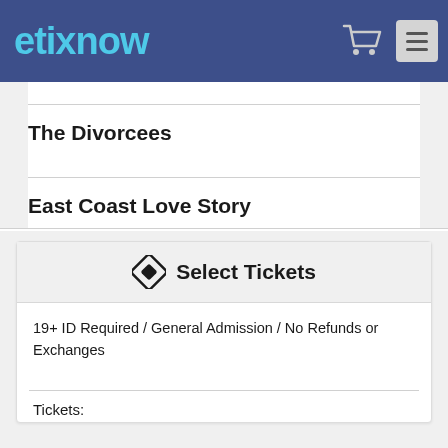etixnow
The Divorcees
East Coast Love Story
Select Tickets
19+ ID Required / General Admission / No Refunds or Exchanges
Tickets: